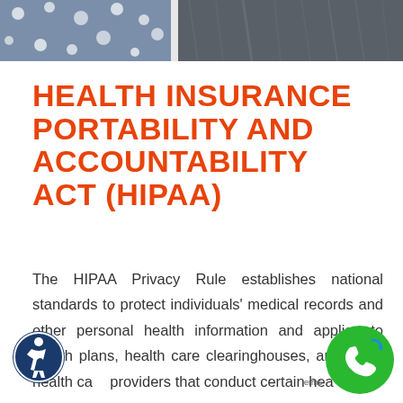[Figure (photo): Photo strip at top showing fabric/clothing with polka dot pattern in blue/grey tones]
HEALTH INSURANCE PORTABILITY AND ACCOUNTABILITY ACT (HIPAA)
The HIPAA Privacy Rule establishes national standards to protect individuals' medical records and other personal health information and applies to health plans, health care clearinghouses, and those health care providers that conduct certain health care transactions electronically. The Rul...